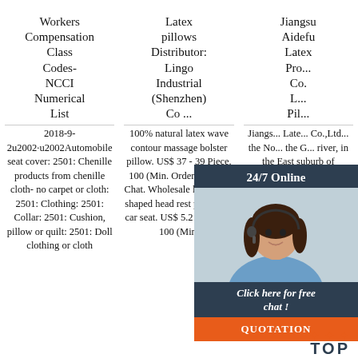Workers Compensation Class Codes- NCCI Numerical List
Latex pillows Distributor: Lingo Industrial (Shenzhen) Co ...
Jiangsu Aidefu Latex Products Co. L... Pil...
2018-9-2u2002·u2002Automobile seat cover: 2501: Chenille products from chenille cloth- no carpet or cloth: 2501: Clothing: 2501: Collar: 2501: Cushion, pillow or quilt: 2501: Doll clothing or cloth
100% natural latex wave contour massage bolster pillow. US$ 37 - 39 Piece. 100 (Min. Order) Inquire Chat. Wholesale latex bone shaped head rest pillow for car seat. US$ 5.2 - 6 Piece. 100 (Min.
Jiangsu... Latex... Co.,Ltd... the No... the G... river, in the East suburb of Yangzhou city, and nearby the West suburb of Taizhou city. Where the economic
[Figure (other): Chat widget overlay with woman wearing headset, 24/7 Online label, Click here for free chat button, and QUOTATION button in orange]